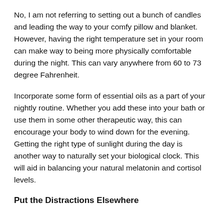No, I am not referring to setting out a bunch of candles and leading the way to your comfy pillow and blanket. However, having the right temperature set in your room can make way to being more physically comfortable during the night. This can vary anywhere from 60 to 73 degree Fahrenheit.
Incorporate some form of essential oils as a part of your nightly routine. Whether you add these into your bath or use them in some other therapeutic way, this can encourage your body to wind down for the evening. Getting the right type of sunlight during the day is another way to naturally set your biological clock. This will aid in balancing your natural melatonin and cortisol levels.
Put the Distractions Elsewhere